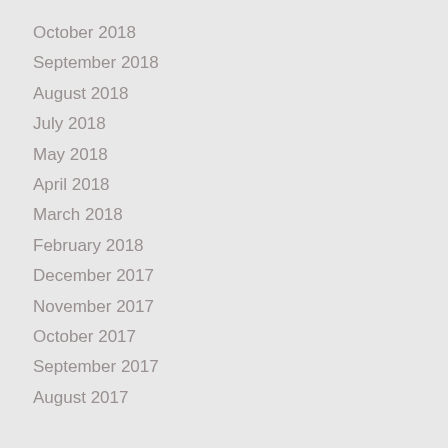October 2018
September 2018
August 2018
July 2018
May 2018
April 2018
March 2018
February 2018
December 2017
November 2017
October 2017
September 2017
August 2017